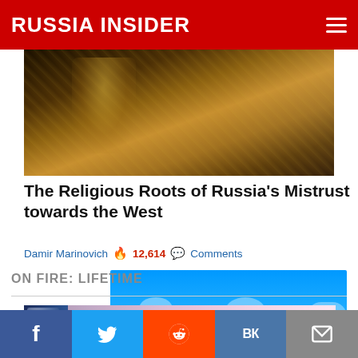RUSSIA INSIDER
[Figure (photo): Partial view of a Russian Orthodox religious icon painting showing a figure in ornate golden vestments against a dark background]
The Religious Roots of Russia's Mistrust towards the West
Damir Marinovich  🔥 12,614  💬 Comments
[Figure (other): Advertisement banner with blue sky and cloud imagery. Text: Support Russia Insider - Go Ad-Free!]
ON FIRE: LIFETIME
[Figure (photo): Partial bottom strip of an article thumbnail image showing American flag and a person in a pink shirt]
f  🐦  reddit  ВК  ✉